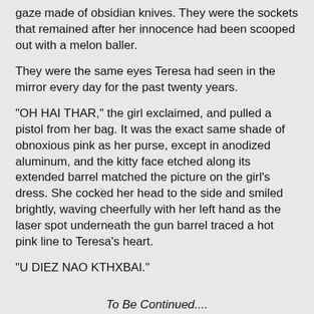gaze made of obsidian knives. They were the sockets that remained after her innocence had been scooped out with a melon baller.
They were the same eyes Teresa had seen in the mirror every day for the past twenty years.
"OH HAI THAR," the girl exclaimed, and pulled a pistol from her bag. It was the exact same shade of obnoxious pink as her purse, except in anodized aluminum, and the kitty face etched along its extended barrel matched the picture on the girl's dress. She cocked her head to the side and smiled brightly, waving cheerfully with her left hand as the laser spot underneath the gun barrel traced a hot pink line to Teresa's heart.
"U DIEZ NAO KTHXBAI."
To Be Continued....